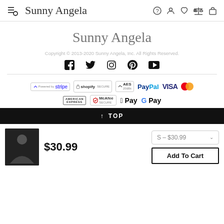Sunny Angela navigation header
Sunny Angela
Copyright © 2013-2020 Sunny Angela, Inc. All Rights Reserved.
[Figure (other): Social media icons: Facebook, Twitter, Instagram, Pinterest, YouTube]
[Figure (other): Payment method badges: Stripe, Shopify Secure, AES 256Bit, PayPal, VISA, Mastercard, American Express, McAfee Secure, Apple Pay, G Pay]
↑ TOP
$30.99
S – $30.99
Add To Cart